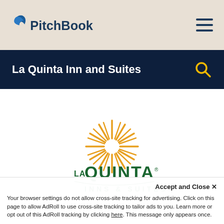[Figure (logo): PitchBook logo with leaf icon in dark blue, on a tan/beige header bar with hamburger menu icon on the right]
La Quinta Inn and Suites
[Figure (logo): La Quinta Inns & Suites logo: golden sun rays design above dark green LAQUINTA text with INNS & SUITES below]
Accept and Close ×
Your browser settings do not allow cross-site tracking for advertising. Click on this page to allow AdRoll to use cross-site tracking to tailor ads to you. Learn more or opt out of this AdRoll tracking by clicking here. This message only appears once.